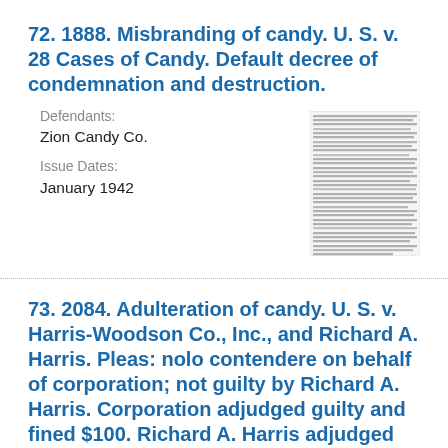72. 1888. Misbranding of candy. U. S. v. 28 Cases of Candy. Default decree of condemnation and destruction.
Defendants:
Zion Candy Co.
Issue Dates:
January 1942
[Figure (photo): Thumbnail image of a legal document page with dense small text]
73. 2084. Adulteration of candy. U. S. v. Harris-Woodson Co., Inc., and Richard A. Harris. Pleas: nolo contendere on behalf of corporation; not guilty by Richard A. Harris. Corporation adjudged guilty and fined $100. Richard A. Harris adjudged not guilty.